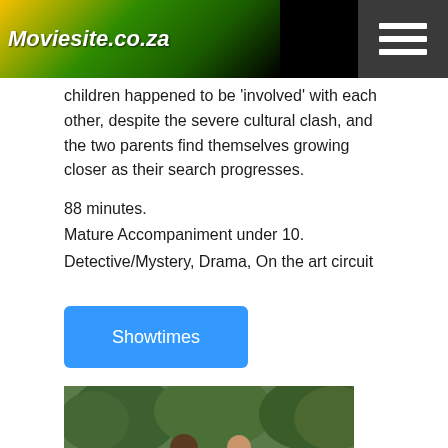Moviesite.co.za
children happened to be 'involved' with each other, despite the severe cultural clash, and the two parents find themselves growing closer as their search progresses.
88 minutes.
Mature Accompaniment under 10.
Detective/Mystery, Drama, On the art circuit
Showtimes
[Figure (photo): Two people sitting on a park bench outdoors with green trees in the background. A man on the left in dark clothing and a woman on the right in a light jacket.]